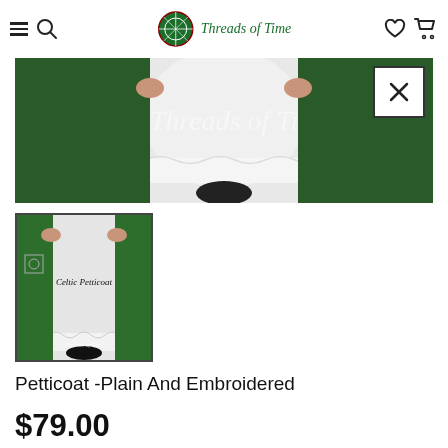Threads of Time — navigation header with hamburger menu, search icon, logo, heart icon, cart icon
[Figure (photo): Close-up hero image of a white petticoat/underskirt with lace trim, shown beneath a dark green Celtic dress, with a large X/expand button overlay in the top right corner. A watermark reads 'Threads of Time'.]
[Figure (photo): Thumbnail image of the Celtic Petticoat product: a person holding open a dark green Celtic dress revealing a white petticoat beneath, with embroidered Celtic symbols on the dress. Text overlay reads 'Celtic Petticoat' and watermark 'Threads of Time'.]
Petticoat -Plain And Embroidered
$79.00